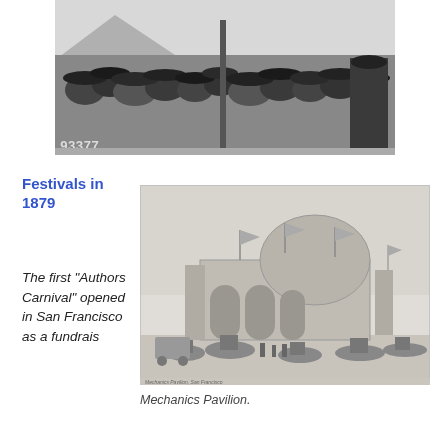[Figure (photo): Black and white photograph of a crowd of people wearing hats, numbered 93377 in bottom left corner]
Festivals in 1879
[Figure (photo): Historical illustration/engraving of the Mechanics Pavilion building in San Francisco with dome, flags, and people and horses in foreground]
Mechanics Pavilion.
The first “Authors Carnival” opened in San Francisco as a fundrais